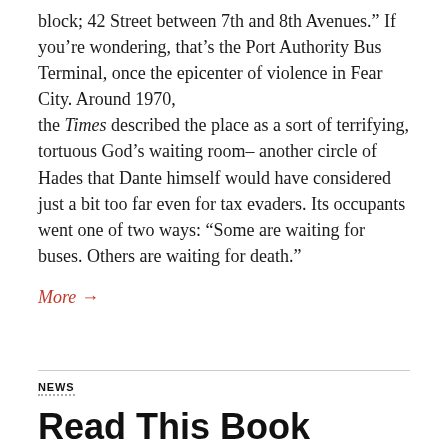block; 42 Street between 7th and 8th Avenues.” If you’re wondering, that’s the Port Authority Bus Terminal, once the epicenter of violence in Fear City. Around 1970, the Times described the place as a sort of terrifying, tortuous God’s waiting room– another circle of Hades that Dante himself would have considered just a bit too far even for tax evaders. Its occupants went one of two ways: “Some are waiting for buses. Others are waiting for death.”
More →
NEWS
Read This Book Before You Snapchat That Masked Punk Musician
AUGUST 25, 2015